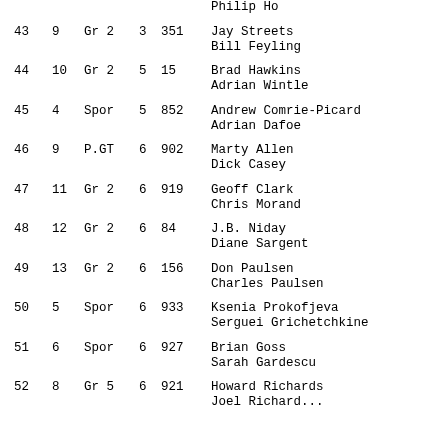|  |  |  |  |  | Philip Ho |
| 43 | 9 | Gr 2 | 3 | 351 | Jay Streets
Bill Feyling |
| 44 | 10 | Gr 2 | 5 | 15 | Brad Hawkins
Adrian Wintle |
| 45 | 4 | Spor | 5 | 852 | Andrew Comrie-Picard
Adrian Dafoe |
| 46 | 9 | P.GT | 6 | 902 | Marty Allen
Dick Casey |
| 47 | 11 | Gr 2 | 6 | 919 | Geoff Clark
Chris Morand |
| 48 | 12 | Gr 2 | 6 | 84 | J.B. Niday
Diane Sargent |
| 49 | 13 | Gr 2 | 6 | 156 | Don Paulsen
Charles Paulsen |
| 50 | 5 | Spor | 6 | 933 | Ksenia Prokofjeva
Serguei Grichetchkine |
| 51 | 6 | Spor | 6 | 927 | Brian Goss
Sarah Gardescu |
| 52 | 8 | Gr 5 | 6 | 921 | Howard Richards
Joel Richard... |